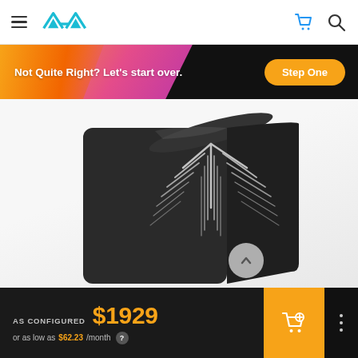AVA Direct logo, hamburger menu, cart icon, search icon
[Figure (screenshot): Promotional banner with gradient background (orange to pink/magenta). Text: 'Not Quite Right? Let's start over.' with orange 'Step One' button on right.]
[Figure (photo): Dark/black gaming PC tower case with chevron ventilation design on the front panel, photographed at an angle against a white background.]
AS CONFIGURED $1929 or as low as $62.23/month ?